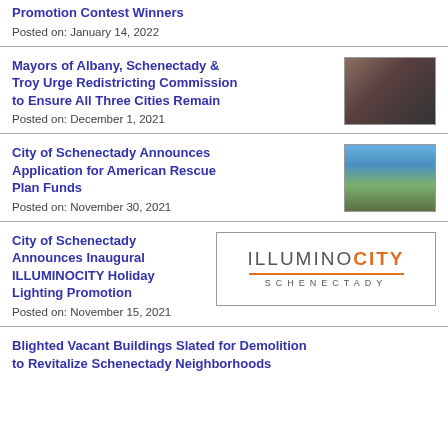Promotion Contest Winners
Posted on: January 14, 2022
Mayors of Albany, Schenectady & Troy Urge Redistricting Commission to Ensure All Three Cities Remain
Posted on: December 1, 2021
[Figure (photo): Indoor meeting scene with people at a commission]
City of Schenectady Announces Application for American Rescue Plan Funds
Posted on: November 30, 2021
[Figure (photo): Aerial view of Schenectady city with church steeple]
City of Schenectady Announces Inaugural ILLUMINOCITY Holiday Lighting Promotion
Posted on: November 15, 2021
[Figure (logo): IlluminoCity Schenectady logo with orange accent]
Blighted Vacant Buildings Slated for Demolition to Revitalize Schenectady Neighborhoods